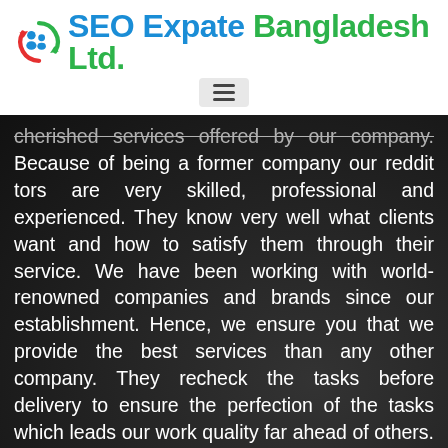[Figure (logo): SEO Expate Bangladesh Ltd. logo — circular icon with figures on left, company name in blue and green on right]
[Figure (other): Hamburger menu icon (three horizontal lines) inside a light grey rounded rectangle]
cherished services offered by our company. Because of being a former company our reddit tors are very skilled, professional and experienced. They know very well what clients want and how to satisfy them through their service. We have been working with world-renowned companies and brands since our establishment. Hence, we ensure you that we provide the best services than any other company. They recheck the tasks before delivery to ensure the perfection of the tasks which leads our work quality far ahead of others. Furthermore, we aim at providing